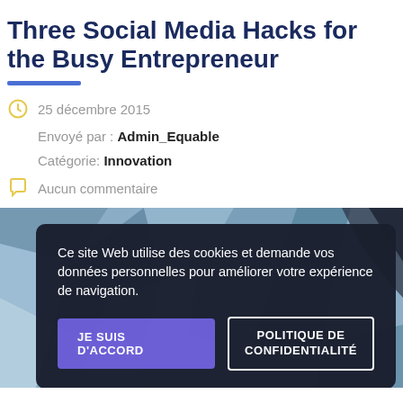Three Social Media Hacks for the Busy Entrepreneur
25 décembre 2015
Envoyé par : Admin_Equable
Catégorie: Innovation
Aucun commentaire
[Figure (screenshot): Cookie consent overlay on a polygonal geometric background image. Dark panel with text: 'Ce site Web utilise des cookies et demande vos données personnelles pour améliorer votre expérience de navigation.' Two buttons: 'JE SUIS D'ACCORD' (purple) and 'POLITIQUE DE CONFIDENTIALITÉ' (outlined).]